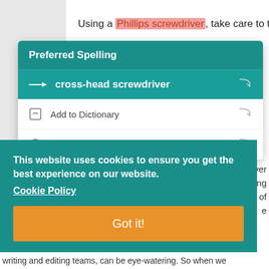Using a Phillips screwdriver, take care to tighten
[Figure (screenshot): Preferred Spelling dropdown menu showing suggestion 'cross-head screwdriver' with options to Add to Dictionary or Ignore]
[Figure (screenshot): Cookie consent banner: 'This website uses cookies to ensure you get the best experience on our website. Cookie Policy' with a 'Got it!' button]
writing and editing teams, can be eye-watering. So when we